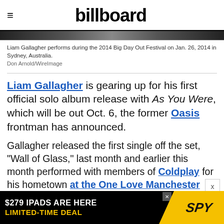billboard
Liam Gallagher performs during the 2014 Big Day Out Festival on Jan. 26, 2014 in Sydney, Australia.
Don Arnold/WireImage
Liam Gallagher is gearing up for his first official solo album release with As You Were, which will be out Oct. 6, the former Oasis frontman has announced.
Gallagher released the first single off the set, “Wall of Glass,” last month and earlier this month performed with members of Coldplay for his hometown at the One Love Manchester benefit concert that followed a deadly
[Figure (other): Advertisement banner: $279 IPADS ARE HERE / LIMITED-TIME DEAL with SPY logo]